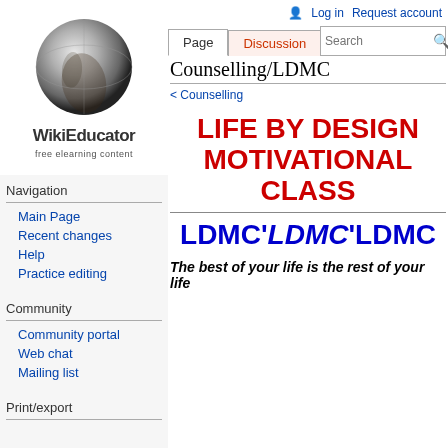[Figure (logo): WikiEducator logo — globe held by hand with text 'WikiEducator free elearning content']
Navigation
Main Page
Recent changes
Help
Practice editing
Community
Community portal
Web chat
Mailing list
Print/export
Log in  Request account
Counselling/LDMC
< Counselling
LIFE BY DESIGN MOTIVATIONAL CLASS
LDMC'LDMC'LDMC
The best of your life is the rest of your life